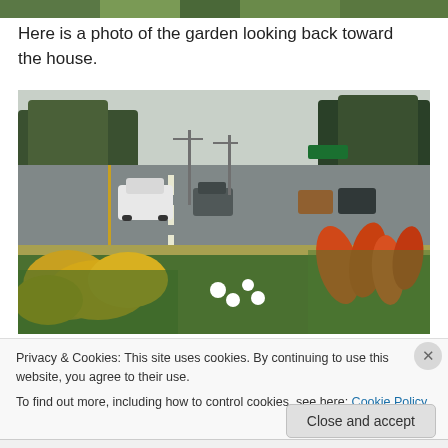[Figure (photo): Top strip showing partial garden/nature image at the very top of the page]
Here is a photo of the garden looking back toward the house.
[Figure (photo): Photo of a roadside wildflower garden with yellow, orange, red, and white flowers in the foreground, a multi-lane road with cars (white SUV, dark SUV, other vehicles), utility poles, and trees in the background]
Privacy & Cookies: This site uses cookies. By continuing to use this website, you agree to their use.
To find out more, including how to control cookies, see here: Cookie Policy
Close and accept